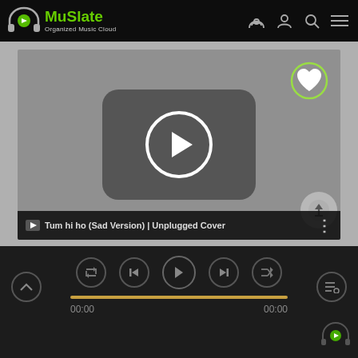MuSlate — Organized Music Cloud navigation bar with logo, broadcast, user, search, and menu icons
[Figure (screenshot): Video player thumbnail showing a grayed-out YouTube-style play button (rounded rectangle with circle play icon) on a gray background, with a green-outlined white heart icon in the top-right corner]
Tum hi ho (Sad Version) | Unplugged Cover
[Figure (screenshot): Music player controls bar showing repeat, previous, play, next, and shuffle buttons with a progress bar (00:00 to 00:00), up-chevron on the left, playlist icon on the right, and MuSlate logo bottom-right]